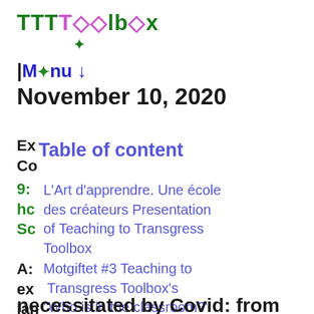[Figure (logo): TTTToolbox logo with diamond symbol in green and pink/purple colors]
Menu ↓
November 10, 2020
Exercise Non-verbal Co
Table of content
9: L'Art d'apprendre. Une école des créateurs Presentation of Teaching to Transgress Toolbox
how
Sc
A: Motgiftet #3 Teaching to Transgress Toolbox's "Who is in the classroom?"
ex
lan Who is in the Classroom?
all A workshop towards
ha inclusion and diversity
necessitated by Covid: from